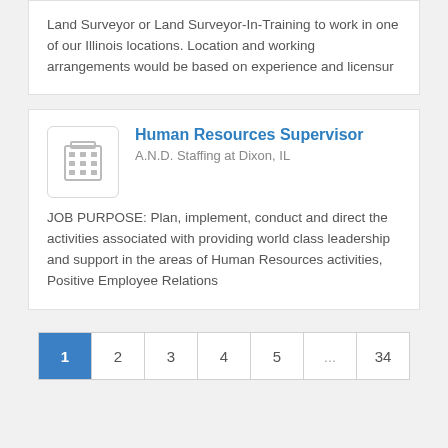Land Surveyor or Land Surveyor-In-Training to work in one of our Illinois locations. Location and working arrangements would be based on experience and licensur
Human Resources Supervisor
A.N.D. Staffing at Dixon, IL
JOB PURPOSE: Plan, implement, conduct and direct the activities associated with providing world class leadership and support in the areas of Human Resources activities, Positive Employee Relations
1 2 3 4 5 ... 34